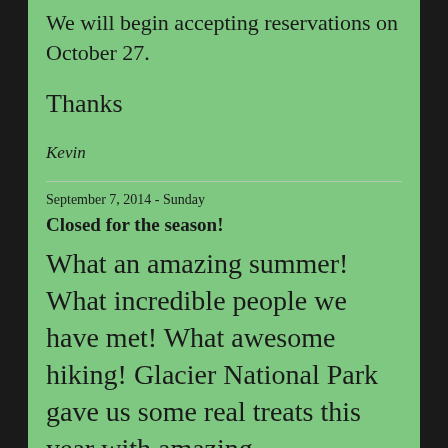We will begin accepting reservations on October 27.
Thanks
Kevin
September 7, 2014 - Sunday
Closed for the season!
What an amazing summer! What incredible people we have met! What awesome hiking! Glacier National Park gave us some real treats this year with amazing